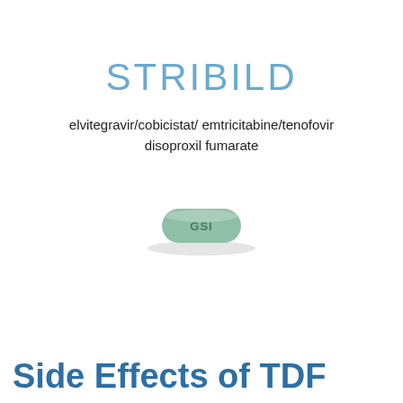STRIBILD
elvitegravir/cobicistat/ emtricitabine/tenofovir disoproxil fumarate
[Figure (photo): Photograph of a Stribild tablet (green/teal rounded oblong pill) imprinted with 'GSI']
Side Effects of TDF